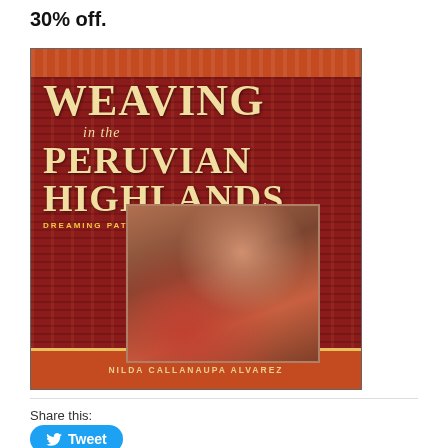30% off.
[Figure (illustration): Book cover for 'Weaving in the Peruvian Highlands: Dreaming Patterns, Weaving Memories' by Nilda Callanaupa Alvarez. Red background with traditional Peruvian weaving patterns, featuring a photo of women in traditional dress with a child.]
Share this:
Tweet